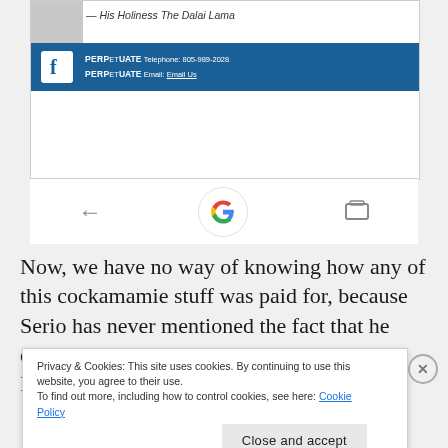[Figure (screenshot): Screenshot of a webpage showing a Facebook-style blue bar with PERPETUATE Telephone and Email info, followed by browser navigation bar with back arrow, Google logo circle, and tabs icon]
Now, we have no way of knowing how any of this cockamamie stuff was paid for, because Serio has never mentioned the fact that he ever did it at all. For a guy who takes his Facebook live feeds to the bathroom with
Privacy & Cookies: This site uses cookies. By continuing to use this website, you agree to their use.
To find out more, including how to control cookies, see here: Cookie Policy
Close and accept